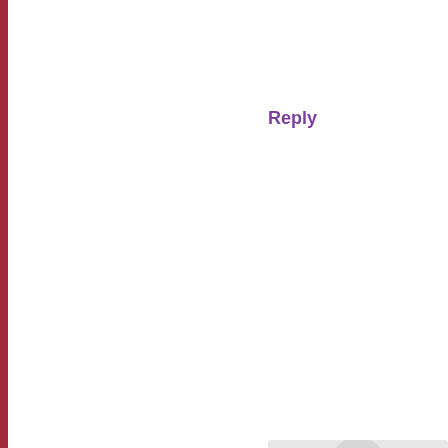Reply
[Figure (photo): Circular avatar photo of a person named Elle, outdoors with green background, wearing a light blue top. Decorative grey bubble circles in background.]
Elle says:
December 2, 201...
Oh, you are so much hardie... race. It took me more than a...